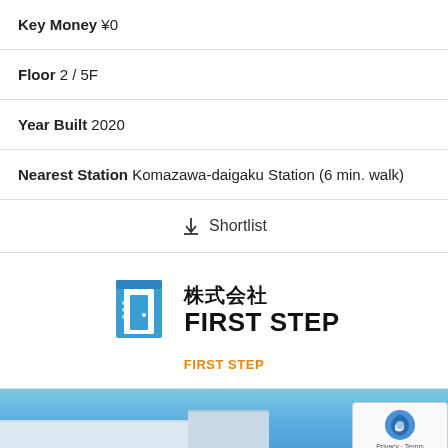Key Money ¥0
Floor 2 / 5F
Year Built 2020
Nearest Station Komazawa-daigaku Station (6 min. walk)
↓ Shortlist
[Figure (logo): First Step real estate agency logo with blue door icon, kanji 株式会社 and text FIRST STEP]
FIRST STEP
[Figure (photo): Bottom portion of a building exterior photo, blue sky visible]